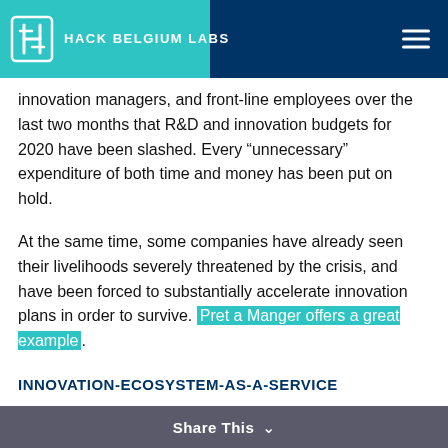HACK BELGIUM LABS
innovation managers, and front-line employees over the last two months that R&D and innovation budgets for 2020 have been slashed. Every “unnecessary” expenditure of both time and money has been put on hold.
At the same time, some companies have already seen their livelihoods severely threatened by the crisis, and have been forced to substantially accelerate innovation plans in order to survive. Pret a Manger offers a great example.
INNOVATION-ECOSYSTEM-AS-A-SERVICE
To solve the twin issues of the high cost of the current innovation approach and limited in-house talent pool, a new approach is needed.
An ideal solution would have to meet the following
Share This